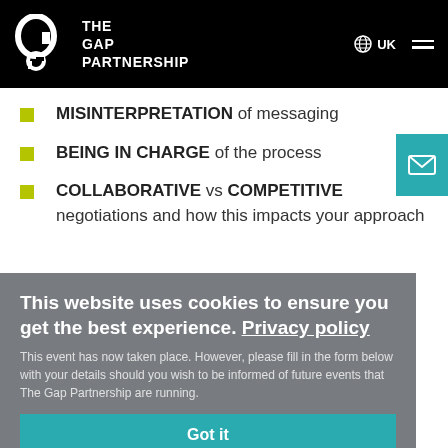THE GAP PARTNERSHIP | UK
MISINTERPRETATION of messaging
BEING IN CHARGE of the process
COLLABORATIVE vs COMPETITIVE negotiations and how this impacts your approach
This website uses cookies to ensure you get the best experience. Privacy policy
This event has now taken place. However, please fill in the form below with your details should you wish to be informed of future events that The Gap Partnership are running.
Got it